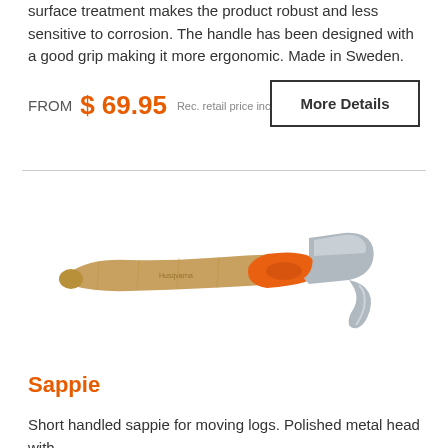surface treatment makes the product robust and less sensitive to corrosion. The handle has been designed with a good grip making it more ergonomic. Made in Sweden.
FROM  $ 69.95  Rec. retail price incl GST
More Details
[Figure (photo): A sappie tool with a wooden handle with orange grip and a polished metal hook head, shown horizontally against white background.]
Sappie
Short handled sappie for moving logs. Polished metal head with